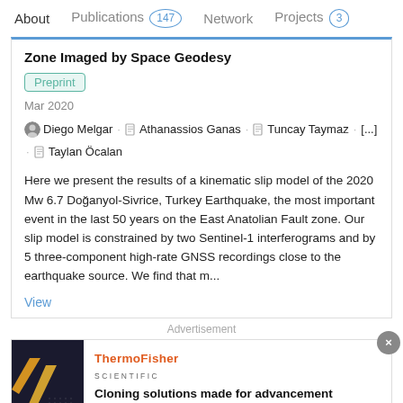About   Publications 147   Network   Projects 3
Zone Imaged by Space Geodesy
Preprint
Mar 2020
Diego Melgar · Athanassios Ganas · Tuncay Taymaz · [...] · Taylan Öcalan
Here we present the results of a kinematic slip model of the 2020 Mw 6.7 Doğanyol-Sivrice, Turkey Earthquake, the most important event in the last 50 years on the East Anatolian Fault zone. Our slip model is constrained by two Sentinel-1 interferograms and by 5 three-component high-rate GNSS recordings close to the earthquake source. We find that m...
View
Advertisement
[Figure (screenshot): ThermoFisher Scientific advertisement banner with dark background image showing 'Cloning' text and diagonal yellow/orange lines, with tagline 'Cloning solutions made for advancement']